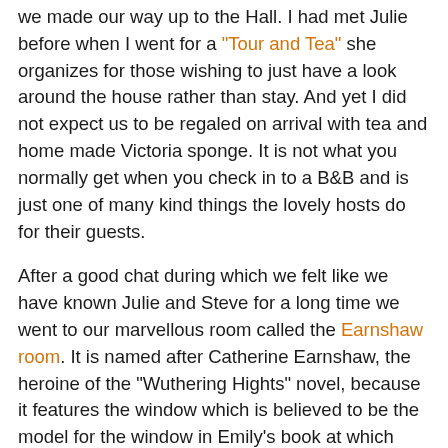we made our way up to the Hall. I had met Julie before when I went for a "Tour and Tea" she organizes for those wishing to just have a look around the house rather than stay. And yet I did not expect us to be regaled on arrival with tea and home made Victoria sponge. It is not what you normally get when you check in to a B&B and is just one of many kind things the lovely hosts do for their guests.

After a good chat during which we felt like we have known Julie and Steve for a long time we went to our marvellous room called the Earnshaw room. It is named after Catherine Earnshaw, the heroine of the "Wuthering Hights" novel, because it features the window which is believed to be the model for the window in Emily's book at which Cathy's ghosts appears asking to be let in. A while ago Julie and Steve had had a boxed bed made around the window that resembles the one Emily describes in her book. And it is these fascinating features of the room that made me decide I must stay in the room and sleep in the box bed. Of course, there are other things that give the room its irresistible, charming character like mullioned windows, log burner that was lit for us before we arrived, period furniture and breathtaking views on the moor side...